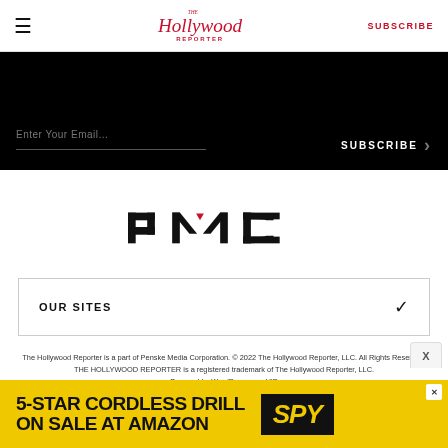☰  The Hollywood Reporter  SUBSCRIBE
[Figure (other): Black banner with email subscription input field and SUBSCRIBE arrow button]
[Figure (logo): PMC (Penske Media Corporation) logo with red chevron accent]
OUR SITES
The Hollywood Reporter is a part of Penske Media Corporation. © 2022 The Hollywood Reporter, LLC. All Rights Reserved. THE HOLLYWOOD REPORTER is a registered trademark of The Hollywood Reporter, LLC. Powered by WordPress.com VIP
[Figure (other): Advertisement banner: 5-STAR CORDLESS DRILL ON SALE AT AMAZON featuring SPY logo on yellow background]